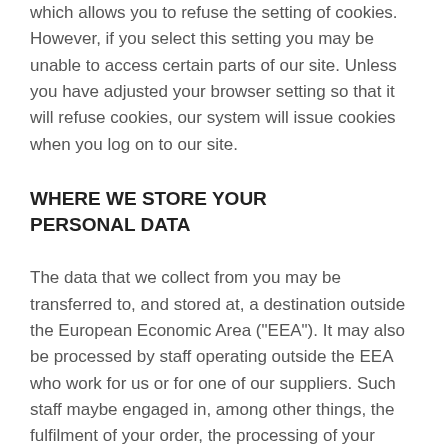which allows you to refuse the setting of cookies. However, if you select this setting you may be unable to access certain parts of our site. Unless you have adjusted your browser setting so that it will refuse cookies, our system will issue cookies when you log on to our site.
WHERE WE STORE YOUR PERSONAL DATA
The data that we collect from you may be transferred to, and stored at, a destination outside the European Economic Area ("EEA"). It may also be processed by staff operating outside the EEA who work for us or for one of our suppliers. Such staff maybe engaged in, among other things, the fulfilment of your order, the processing of your